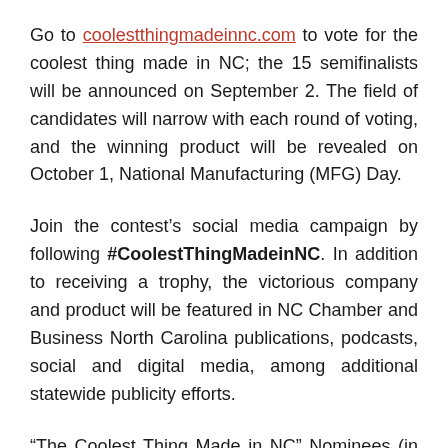Go to coolestthingmadeinnc.com to vote for the coolest thing made in NC; the 15 semifinalists will be announced on September 2. The field of candidates will narrow with each round of voting, and the winning product will be revealed on October 1, National Manufacturing (MFG) Day.
Join the contest's social media campaign by following #CoolestThingMadeinNC. In addition to receiving a trophy, the victorious company and product will be featured in NC Chamber and Business North Carolina publications, podcasts, social and digital media, among additional statewide publicity efforts.
“The Coolest Thing Made in NC” Nominees (in alphabetical order by manufacturing location):